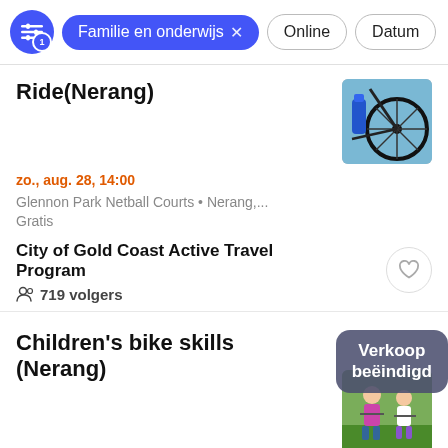Familie en onderwijs × | Online | Datum
Ride(Nerang)
zo., aug. 28, 14:00
Glennon Park Netball Courts • Nerang,...
Gratis
City of Gold Coast Active Travel Program
719 volgers
[Figure (photo): Close-up of a bicycle wheel and blue water bottle]
Children's bike skills (Nerang)
zo., aug. 28, 10:15
Glennon Park Netball Courts • Nerang,...
Gratis
[Figure (photo): Children with bikes at a bike skills event]
Verkoop beëindigd